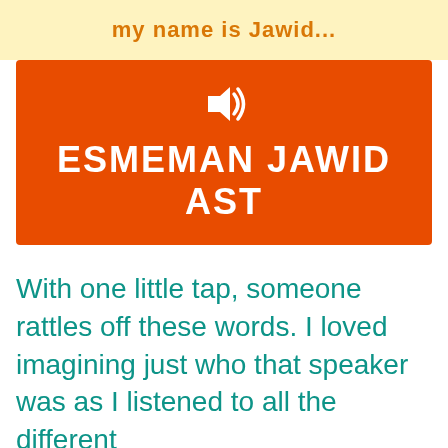[Figure (screenshot): Top yellow banner with partial text 'my name is Jawid...' in orange with navigation arrows]
[Figure (infographic): Orange rectangle with speaker/audio icon and white bold uppercase text 'ESMEMAN JAWID AST']
With one little tap, someone rattles off these words. I loved imagining just who that speaker was as I listened to all the different